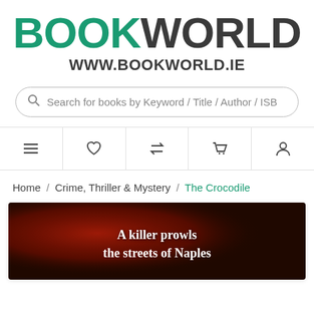BOOKWORLD www.bookworld.ie
Search for books by Keyword / Title / Author / ISB
[Figure (screenshot): Navigation bar with icons: hamburger menu, heart/wishlist, compare, shopping cart, user account]
Home / Crime, Thriller & Mystery / The Crocodile
[Figure (photo): Book cover for The Crocodile showing dark red/crimson background with text 'A killer prowls the streets of Naples']